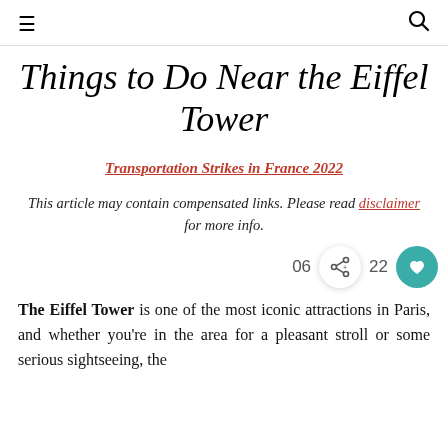≡ [hamburger menu] | [search icon]
Things to Do Near the Eiffel Tower
Transportation Strikes in France 2022
This article may contain compensated links. Please read disclaimer for more info.
06 [share icon] 22
The Eiffel Tower is one of the most iconic attractions in Paris, and whether you're in the area for a pleasant stroll or some serious sightseeing, the